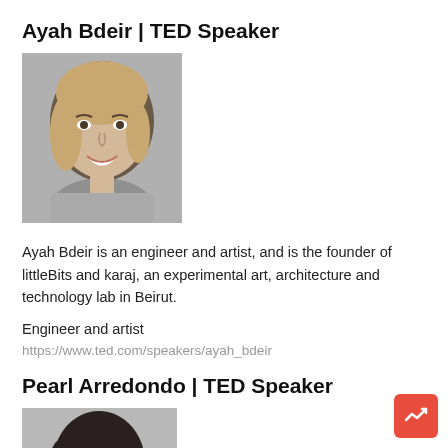Ayah Bdeir | TED Speaker
[Figure (photo): Black and white headshot photo of Ayah Bdeir, a young woman with long hair, smiling]
Ayah Bdeir is an engineer and artist, and is the founder of littleBits and karaj, an experimental art, architecture and technology lab in Beirut.
Engineer and artist
https://www.ted.com/speakers/ayah_bdeir
Pearl Arredondo | TED Speaker
[Figure (photo): Black and white headshot photo of Pearl Arredondo, a young woman with dark hair, smiling]
Pearl Arredondo had a difficult childhood, growing up with the